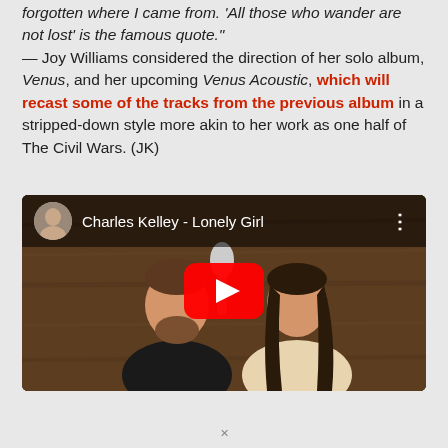forgotten where I came from. 'All those who wander are not lost' is the famous quote." — Joy Williams considered the direction of her solo album, Venus, and her upcoming Venus Acoustic, which will recast some of the tracks from the previous album in a stripped-down style more akin to her work as one half of The Civil Wars. (JK)
[Figure (screenshot): YouTube video embed showing 'Charles Kelley - Lonely Girl' with a thumbnail of a man and woman in a recording studio with warm wood background, and a red YouTube play button overlay.]